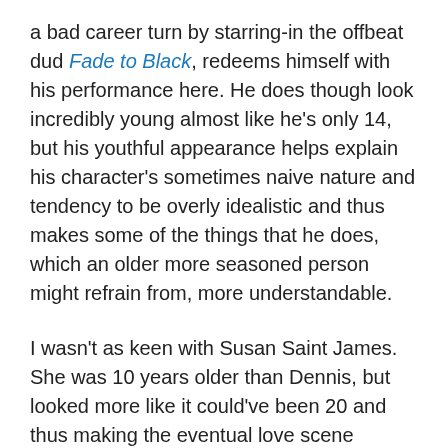a bad career turn by starring-in the offbeat dud Fade to Black, redeems himself with his performance here. He does though look incredibly young almost like he's only 14, but his youthful appearance helps explain his character's sometimes naive nature and tendency to be overly idealistic and thus makes some of the things that he does, which an older more seasoned person might refrain from, more understandable.
I wasn't as keen with Susan Saint James. She was 10 years older than Dennis, but looked more like it could've been 20 and thus making the eventual love scene between them come-off as forced and mechanical. I'll give her credit she does have an effective emotional moment, but her character is too Jekyll and Hyde-like as she initially is really into helping the orphanage and even gets Brian more into it and then suddenly like a light switch doesn't